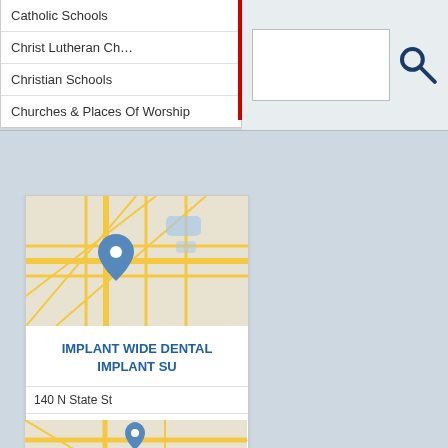Catholic Schools
Christ Lutheran Ch…
Christian Schools
Churches & Places Of Worship
[Figure (map): Street map showing location pin for Implant Wide Dental Implant Su in Belvidere, IL]
IMPLANT WIDE DENTAL IMPLANT SU
140 N State St
Belvidere, IL, 61008
8155445161
8155445166
Dental Center
Dental Clinics
Dental Offices
Dental Repair
Dentist Office
[Figure (map): Partial street map showing location pin at bottom of page]